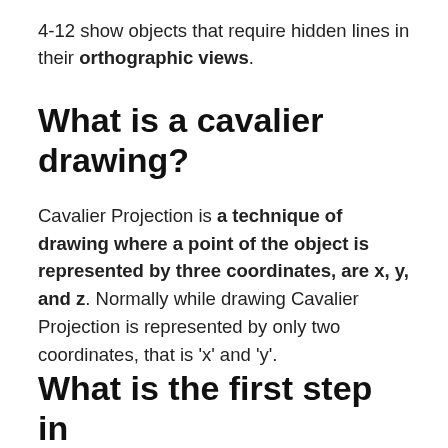4-12 show objects that require hidden lines in their orthographic views.
What is a cavalier drawing?
Cavalier Projection is a technique of drawing where a point of the object is represented by three coordinates, are x, y, and z. Normally while drawing Cavalier Projection is represented by only two coordinates, that is 'x' and 'y'.
What is the first step in